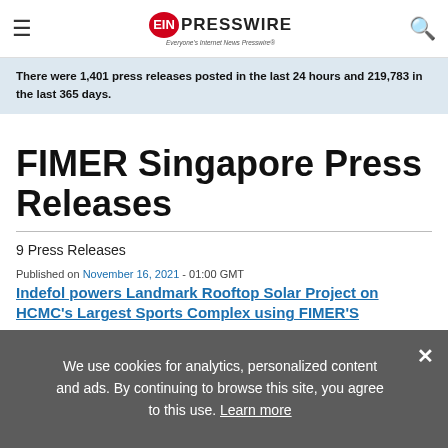EIN Presswire — Everyone's Internet News Presswire
There were 1,401 press releases posted in the last 24 hours and 219,783 in the last 365 days.
FIMER Singapore Press Releases
9 Press Releases
Published on November 16, 2021 - 01:00 GMT
Indefol powers Landmark Rooftop Solar Project on HCMC's Largest Sports Complex using FIMER'S
We use cookies for analytics, personalized content and ads. By continuing to browse this site, you agree to this use. Learn more